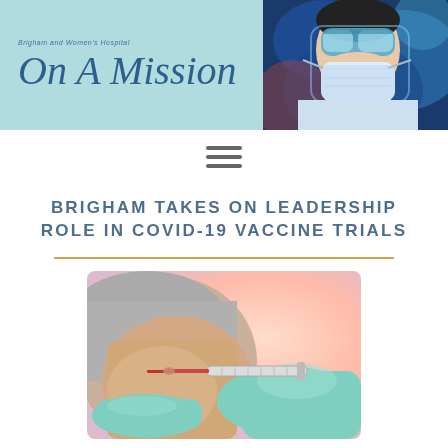On A Mission
BRIGHAM TAKES ON LEADERSHIP ROLE IN COVID-19 VACCINE TRIALS
[Figure (photo): A close-up photo of a medical professional in gloves administering a vaccine injection into a patient's arm]
[Figure (photo): Header photo of a masked medical professional in protective gear and goggles]